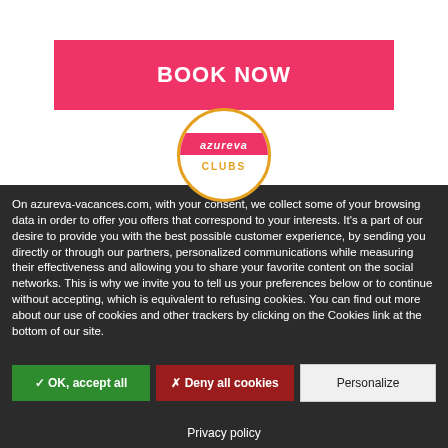[Figure (logo): BOOK NOW button — pink/red rounded rectangle with white bold text]
[Figure (logo): Azureva Clubs circular logo with orange border, pink top half with italic white 'azureva' text, white bottom half with orange 'CLUBS' text]
On azureva-vacances.com, with your consent, we collect some of your browsing data in order to offer you offers that correspond to your interests. It's a part of our desire to provide you with the best possible customer experience, by sending you directly or through our partners, personalized communications while measuring their effectiveness and allowing you to share your favorite content on the social networks. This is why we invite you to tell us your preferences below or to continue without accepting, which is equivalent to refusing cookies. You can find out more about our use of cookies and other trackers by clicking on the Cookies link at the bottom of our site.
✓ OK, accept all
✗ Deny all cookies
Personalize
Privacy policy